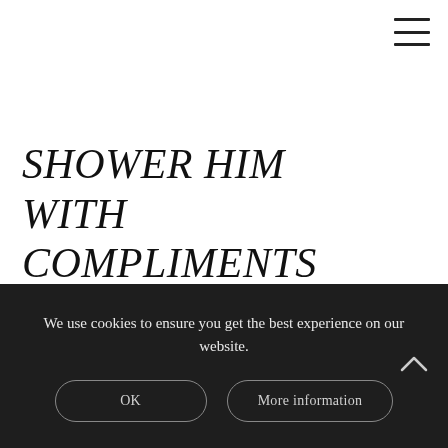[Figure (other): Hamburger menu icon (three horizontal lines) in top right corner]
SHOWER HIM WITH COMPLIMENTS
We use cookies to ensure you get the best experience on our website.
OK
More information